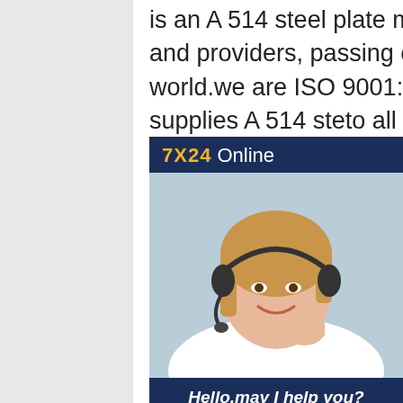is an A 514 steel plate money related stars and providers, passing on to the entire of the world.we are ISO 9001:2008 requested and supplies A 514 steel to all around understood quality benchmarks for applications.Steel Supplier, Distributor & Manufacturer a514 grade q steel manufactureA Grade 1020; A829/4140; Low / High Carbon Non-Structural Steel Plate; A830-1045; C1020; Alloy Quench & Tempered (Q&T) Steel Plate. A514 B, E, F, H, Q, S; 130 Ksi / 890 MPa Yield Strength; 140 Ksi / 960 MPa Yield Strength; A710; ASTM A829 - 4140; AR400 / 400F; AR450 / 450F; AR500 / 500F; AR600; Offshore And Marine Steel Plate astm a514 grade q steel manufacture
[Figure (photo): Customer service chat widget showing '7X24 Online' header in navy/gold, a photo of a smiling woman with a headset, and a 'Hello, may I help you?' message with a 'Get Latest Price' button.]